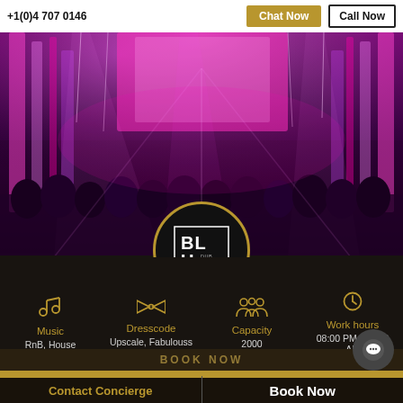+1(0)4 707 0146  Chat Now  Call Now
[Figure (photo): Nightclub interior with pink/purple lighting, spotlights, large crowd on dance floor, LED panels, and BLU Dubai logo in center circle]
Music
RnB, House
Dresscode
Upscale, Fabulouss
Capacity
2000
Work hours
08:00 PM - 03:00 AM
BOOK NOW
Contact Concierge
Book Now